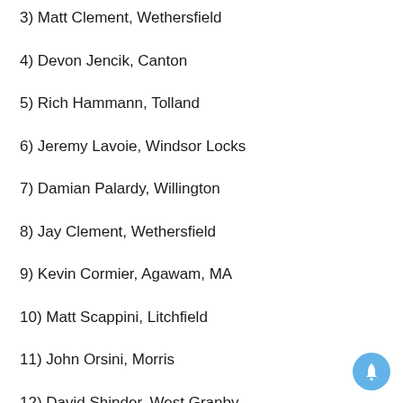3) Matt Clement, Wethersfield
4) Devon Jencik, Canton
5) Rich Hammann, Tolland
6) Jeremy Lavoie, Windsor Locks
7) Damian Palardy, Willington
8) Jay Clement, Wethersfield
9) Kevin Cormier, Agawam, MA
10) Matt Scappini, Litchfield
11) John Orsini, Morris
12) David Shinder, West Granby
13) Trinity Provost, Holland, MA